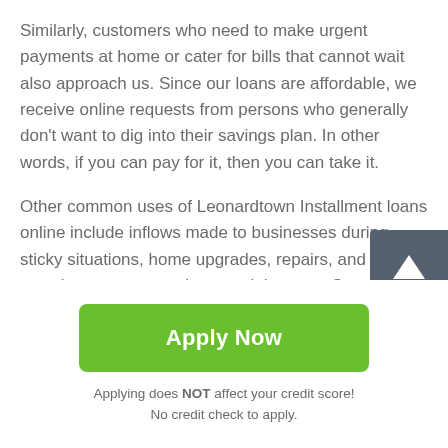Similarly, customers who need to make urgent payments at home or cater for bills that cannot wait also approach us. Since our loans are affordable, we receive online requests from persons who generally don't want to dig into their savings plan. In other words, if you can pay for it, then you can take it.
Other common uses of Leonardtown Installment loans online include inflows made to businesses during sticky situations, home upgrades, repairs, and vacations, amongst other special events. Some people will follow a classy case of robbing Peter to pay Paul by directing the online Installment loans in Leonardtown MD to pay existing debts.
Apply Now
Applying does NOT affect your credit score!
No credit check to apply.